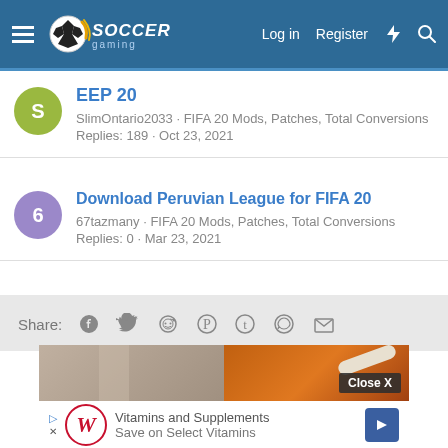Soccer Gaming — Log in | Register
EEP 20
SlimOntario2033 · FIFA 20 Mods, Patches, Total Conversions
Replies: 189 · Oct 23, 2021
Download Peruvian League for FIFA 20
67tazmany · FIFA 20 Mods, Patches, Total Conversions
Replies: 0 · Mar 23, 2021
Share: (Facebook, Twitter, Reddit, Pinterest, Tumblr, WhatsApp, Email)
[Figure (photo): Advertisement image showing a woman and a spice/supplement product with a Close X button]
[Figure (infographic): Walgreens ad banner: Vitamins and Supplements — Save on Select Vitamins]